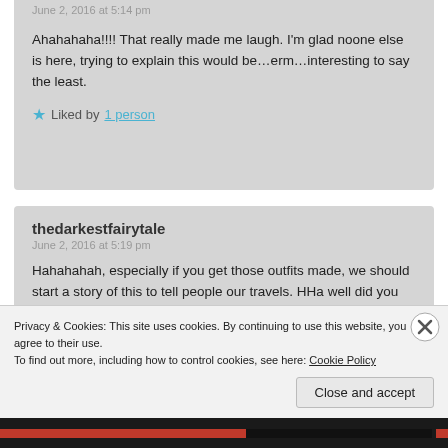June 2, 2016 at 5:14 pm
Ahahahaha!!!! That really made me laugh. I'm glad noone else is here, trying to explain this would be...erm...interesting to say the least.
Liked by 1 person
thedarkestfairytale
June 2, 2016 at 5:19 pm
Hahahahah, especially if you get those outfits made, we should start a story of this to tell people our travels. HHa well did you get caught x
Advertisements
Privacy & Cookies: This site uses cookies. By continuing to use this website, you agree to their use.
To find out more, including how to control cookies, see here: Cookie Policy
Close and accept